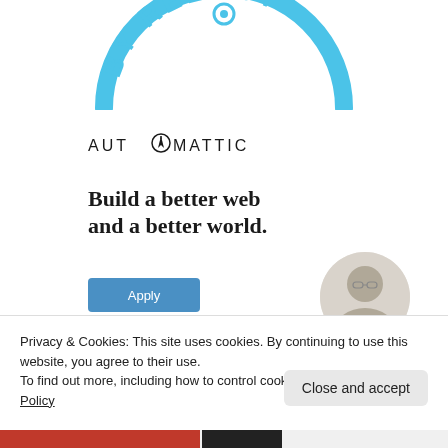[Figure (logo): Partial circular badge with text 'BY REEDSY' in blue arc at top of page]
[Figure (logo): Automattic logo with compass icon replacing the 'O']
Build a better web and a better world.
[Figure (illustration): Blue 'Apply' button]
[Figure (photo): Circular photo of a person thinking, touching their chin]
Privacy & Cookies: This site uses cookies. By continuing to use this website, you agree to their use.
To find out more, including how to control cookies, see here: Cookie Policy
Close and accept